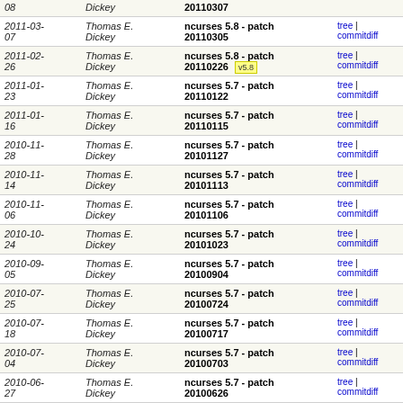| Date | Author | Commit message | Links |
| --- | --- | --- | --- |
| 08 | Dickey | 20110307 | tree | commitdiff |
| 2011-03-07 | Thomas E. Dickey | ncurses 5.8 - patch 20110305 | tree | commitdiff |
| 2011-02-26 | Thomas E. Dickey | ncurses 5.8 - patch 20110226  v5.8 | tree | commitdiff |
| 2011-01-23 | Thomas E. Dickey | ncurses 5.7 - patch 20110122 | tree | commitdiff |
| 2011-01-16 | Thomas E. Dickey | ncurses 5.7 - patch 20110115 | tree | commitdiff |
| 2010-11-28 | Thomas E. Dickey | ncurses 5.7 - patch 20101127 | tree | commitdiff |
| 2010-11-14 | Thomas E. Dickey | ncurses 5.7 - patch 20101113 | tree | commitdiff |
| 2010-11-06 | Thomas E. Dickey | ncurses 5.7 - patch 20101106 | tree | commitdiff |
| 2010-10-24 | Thomas E. Dickey | ncurses 5.7 - patch 20101023 | tree | commitdiff |
| 2010-09-05 | Thomas E. Dickey | ncurses 5.7 - patch 20100904 | tree | commitdiff |
| 2010-07-25 | Thomas E. Dickey | ncurses 5.7 - patch 20100724 | tree | commitdiff |
| 2010-07-18 | Thomas E. Dickey | ncurses 5.7 - patch 20100717 | tree | commitdiff |
| 2010-07-04 | Thomas E. Dickey | ncurses 5.7 - patch 20100703 | tree | commitdiff |
| 2010-06-27 | Thomas E. Dickey | ncurses 5.7 - patch 20100626 | tree | commitdiff |